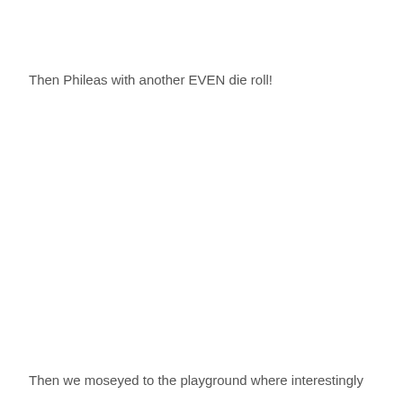Then Phileas with another EVEN die roll!
Then we moseyed to the playground where interestingly